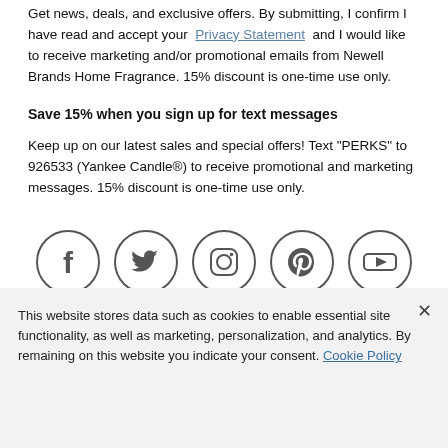Get news, deals, and exclusive offers. By submitting, I confirm I have read and accept your Privacy Statement and I would like to receive marketing and/or promotional emails from Newell Brands Home Fragrance. 15% discount is one-time use only.
Save 15% when you sign up for text messages
Keep up on our latest sales and special offers! Text "PERKS" to 926533 (Yankee Candle®) to receive promotional and marketing messages. 15% discount is one-time use only.
[Figure (infographic): Row of five social media icon circles: Facebook, Twitter, Instagram, Pinterest, YouTube]
This website stores data such as cookies to enable essential site functionality, as well as marketing, personalization, and analytics. By remaining on this website you indicate your consent. Cookie Policy